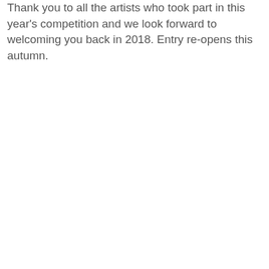Thank you to all the artists who took part in this year's competition and we look forward to welcoming you back in 2018. Entry re-opens this autumn.